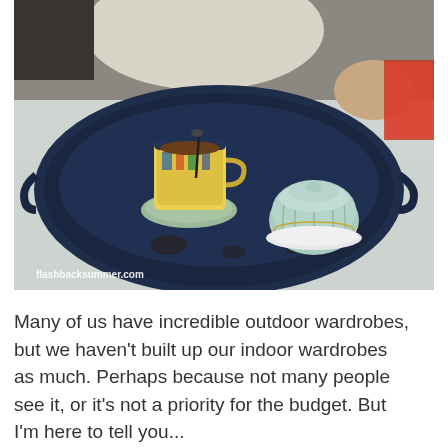[Figure (photo): A dark navy blue oval tray with handles sitting on a white textured bedspread. On the tray sits a yellow decorative mug with a spoon on a pale green saucer, and a pale mint/celadon sugar bowl with lid. A person in white clothing is visible in the background. Website watermark 'flashbacksummer.com' in white text at bottom left.]
Many of us have incredible outdoor wardrobes, but we haven't built up our indoor wardrobes as much.  Perhaps because not many people see it, or it's not a priority for the budget.  But I'm here to tell you...